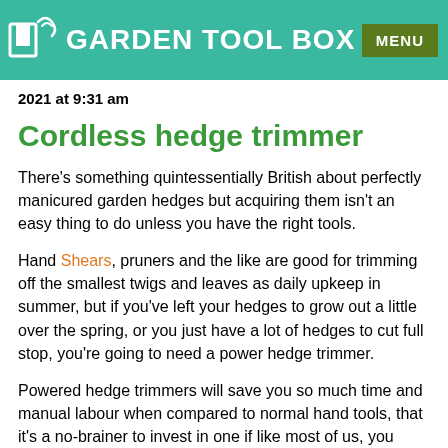GARDEN TOOL BOX  MENU
2021 at 9:31 am
Cordless hedge trimmer
There's something quintessentially British about perfectly manicured garden hedges but acquiring them isn't an easy thing to do unless you have the right tools.
Hand Shears, pruners and the like are good for trimming off the smallest twigs and leaves as daily upkeep in summer, but if you've left your hedges to grow out a little over the spring, or you just have a lot of hedges to cut full stop, you're going to need a power hedge trimmer.
Powered hedge trimmers will save you so much time and manual labour when compared to normal hand tools, that it's a no-brainer to invest in one if like most of us, you